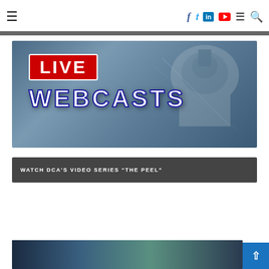Navigation header with hamburger menu, social icons (Facebook, Twitter, LinkedIn, YouTube), menu, and search
[Figure (screenshot): Live Webcasts banner image with Capitol building in background, red LIVE box and white WEBCASTS text]
WATCH DCA'S VIDEO SERIES “THE PEEL”
[Figure (photo): Partial view of another image at the bottom of the page]